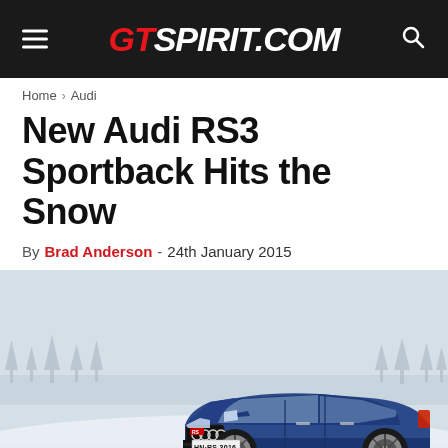GTspirit.com
Home › Audi
New Audi RS3 Sportback Hits the Snow
By Brad Anderson - 24th January 2015
[Figure (photo): Blue Audi RS3 Sportback with license plate HN·RS 3016 driving on a snowy road with snow-covered trees in the background]